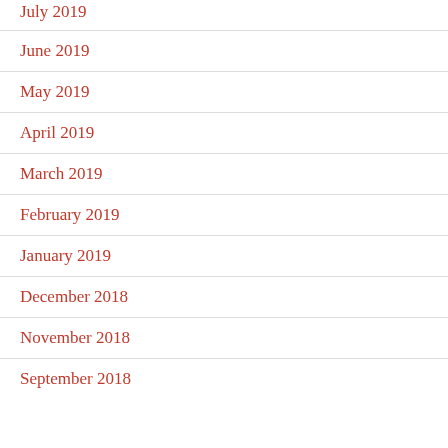July 2019
June 2019
May 2019
April 2019
March 2019
February 2019
January 2019
December 2018
November 2018
September 2018